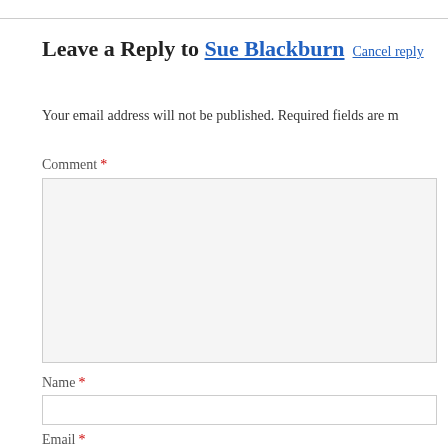Leave a Reply to Sue Blackburn Cancel reply
Your email address will not be published. Required fields are m
Comment *
Name *
Email *